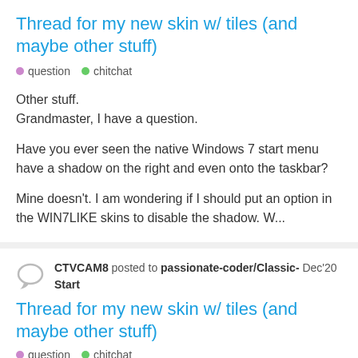Thread for my new skin w/ tiles (and maybe other stuff)
question   chitchat
Other stuff.
Grandmaster, I have a question.
Have you ever seen the native Windows 7 start menu have a shadow on the right and even onto the taskbar?
Mine doesn't. I am wondering if I should put an option in the WIN7LIKE skins to disable the shadow. W...
CTVCAM8 posted to passionate-coder/Classic- Dec'20
Start
Thread for my new skin w/ tiles (and maybe other stuff)
question   chitchat